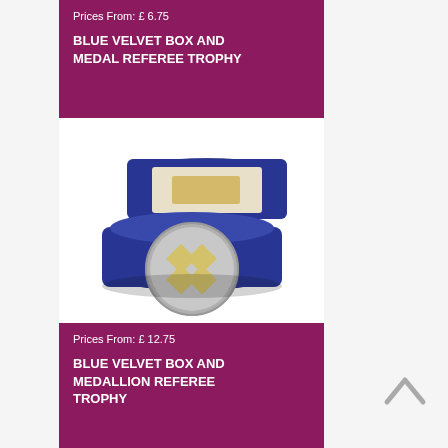Prices From: £ 6.75
BLUE VELVET BOX AND MEDAL REFEREE TROPHY
[Figure (photo): A blue velvet hinged box open to reveal a large silver medallion/coin with a referee whistle motif, sitting in blue velvet lining. The inside lid has a gold/cream label area.]
Prices From: £ 12.75
BLUE VELVET BOX AND MEDALLION REFEREE TROPHY